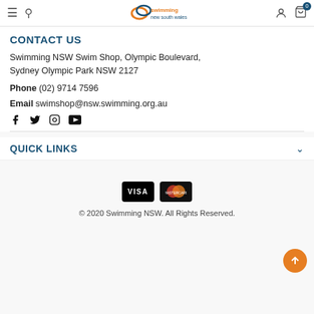Swimming NSW Swim Shop navigation header
CONTACT US
Swimming NSW Swim Shop, Olympic Boulevard, Sydney Olympic Park NSW 2127
Phone (02) 9714 7596
Email swimshop@nsw.swimming.org.au
[Figure (illustration): Social media icons: Facebook, Twitter, Instagram, YouTube]
QUICK LINKS
[Figure (illustration): Payment icons: VISA and Mastercard]
© 2020 Swimming NSW. All Rights Reserved.